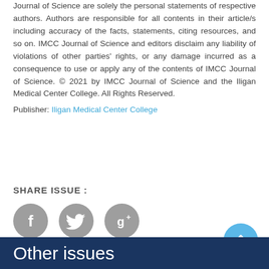Journal of Science are solely the personal statements of respective authors. Authors are responsible for all contents in their article/s including accuracy of the facts, statements, citing resources, and so on. IMCC Journal of Science and editors disclaim any liability of violations of other parties' rights, or any damage incurred as a consequence to use or apply any of the contents of IMCC Journal of Science. © 2021 by IMCC Journal of Science and the Iligan Medical Center College. All Rights Reserved.
Publisher: Iligan Medical Center College
SHARE ISSUE :
[Figure (other): Social media sharing icons: Facebook (f), Twitter (bird), Google+ (g+) as grey circular buttons]
Other issues